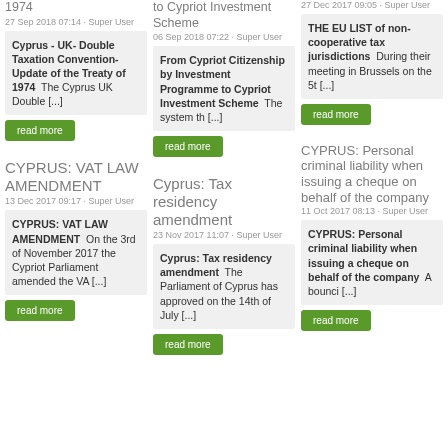1974
27 Sep 2018 07:14 - Super User
Cyprus - UK- Double Taxation Convention- Update of the Treaty of 1974  The Cyprus UK Double [...]
read more
From Cypriot Citizenship by Investment Programme to Cypriot Investment Scheme
06 Sep 2018 07:22 - Super User
From Cypriot Citizenship by Investment Programme to Cypriot Investment Scheme  The system th [...]
read more
27 Dec 2017 09:05 - Super User
THE EU LIST of non-cooperative tax jurisdictions  During their meeting in Brussels on the 5t [...]
read more
CYPRUS: VAT LAW AMENDMENT
13 Dec 2017 09:17 - Super User
CYPRUS: VAT LAW AMENDMENT  On the 3rd of November 2017 the Cypriot Parliament amended the VA [...]
read more
Cyprus: Tax residency amendment
23 Nov 2017 11:07 - Super User
Cyprus: Tax residency amendment  The Parliament of Cyprus has approved on the 14th of July [...]
read more
CYPRUS: Personal criminal liability when issuing a cheque on behalf of the company
11 Oct 2017 08:13 - Super User
CYPRUS: Personal criminal liability when issuing a cheque on behalf of the company  A bounci [...]
read more